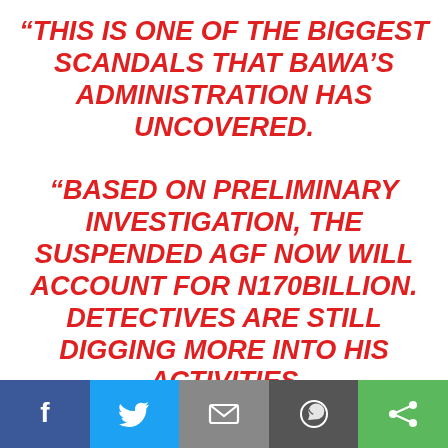“THIS IS ONE OF THE BIGGEST SCANDALS THAT BAWA’S ADMINISTRATION HAS UNCOVERED. “BASED ON PRELIMINARY INVESTIGATION, THE SUSPENDED AGF NOW WILL ACCOUNT FOR N170BILLION. DETECTIVES ARE STILL DIGGING MORE INTO HIS ACTIVITIES
We use cookies on our website to give you the most relevant experience by remembering your preferences and repeat visits. By clicking “Accept All”, you consent to the use of ALL the cookies. However, you may visit "Cookie Settings" to provide a controlled consent.
Facebook | Twitter | Email | WhatsApp | Share